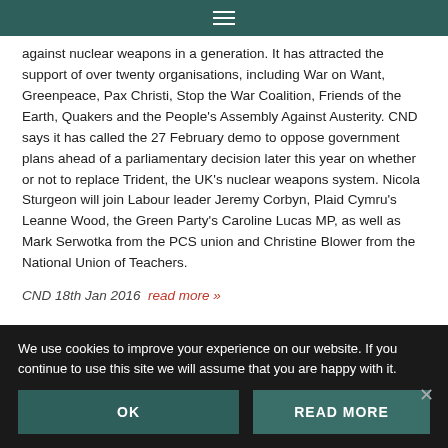≡
against nuclear weapons in a generation. It has attracted the support of over twenty organisations, including War on Want, Greenpeace, Pax Christi, Stop the War Coalition, Friends of the Earth, Quakers and the People's Assembly Against Austerity. CND says it has called the 27 February demo to oppose government plans ahead of a parliamentary decision later this year on whether or not to replace Trident, the UK's nuclear weapons system. Nicola Sturgeon will join Labour leader Jeremy Corbyn, Plaid Cymru's Leanne Wood, the Green Party's Caroline Lucas MP, as well as Mark Serwotka from the PCS union and Christine Blower from the National Union of Teachers.
CND 18th Jan 2016  read more »